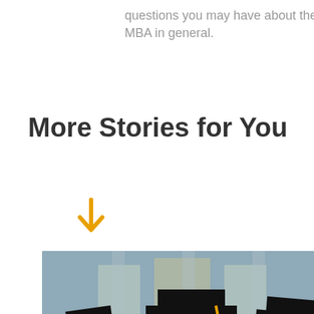questions you may have about the MBA in general.
More Stories for You
[Figure (other): Orange downward arrow icon]
[Figure (photo): Three graduates wearing black mortarboard caps with yellow tassels, smiling, blurred architectural background]